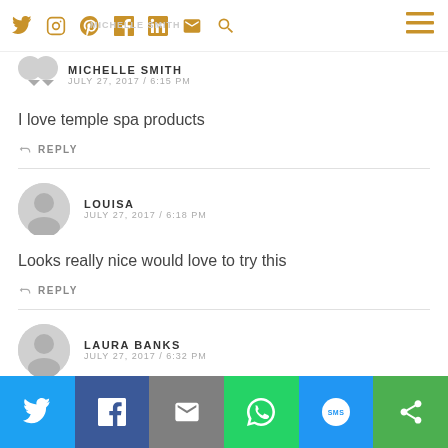Social icons navigation bar with Twitter, Instagram, Pinterest, Facebook, LinkedIn, Email, Search icons and hamburger menu
MICHELLE SMITH
JULY 27, 2017 / 6:15 PM
I love temple spa products
REPLY
LOUISA
JULY 27, 2017 / 6:18 PM
Looks really nice would love to try this
REPLY
LAURA BANKS
JULY 27, 2017 / 6:32 PM
[Figure (infographic): Social share bar with Twitter, Facebook, Email, WhatsApp, SMS, and other share buttons]